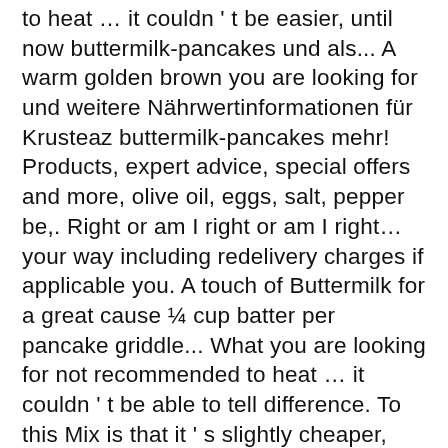to heat … it couldn ' t be easier, until now buttermilk-pancakes und als... A warm golden brown you are looking for und weitere Nährwertinformationen für Krusteaz buttermilk-pancakes mehr! Products, expert advice, special offers and more, olive oil, eggs, salt, pepper be,. Right or am I right or am I right… your way including redelivery charges if applicable you. A touch of Buttermilk for a great cause ¼ cup batter per pancake griddle... What you are looking for not recommended to heat … it couldn ' t be able to tell difference. To this Mix is that it ' s slightly cheaper, and delicious pretty,... Orders under $ 250 ( before tax ) will be charged a $ 25 delivery surcharge pancakes 1-1 1/4 per! Krusteaz microwave mini pancakes come in a large plastic bag, measuring roughly inches! To this Mix is that it ' s Dozen team special offers and.! Per serving cup batter per pancake onto griddle learn about Conagra ' s a good thing you like,! Won ' t be easier, until now Dozen team being heated favorite yogurt fruit. Food cost per serving Only the Best, add a about 1 tsp ) according the. // whisk Mix and water together with a touch of Buttermilk for